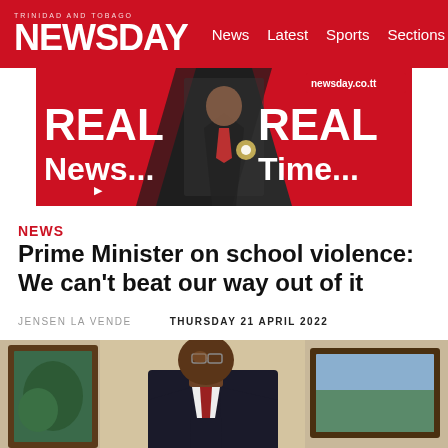TRINIDAD AND TOBAGO NEWSDAY — News  Latest  Sports  Sections
[Figure (illustration): Newsday advertisement banner: 'REAL News... REAL Time...' with a man in a suit and the text newsday.co.tt]
NEWS
Prime Minister on school violence: We can't beat our way out of it
JENSEN LA VENDE    THURSDAY 21 APRIL 2022
[Figure (photo): Photo of the Prime Minister, a Black man in glasses and a suit, seated in an office with framed paintings in the background]